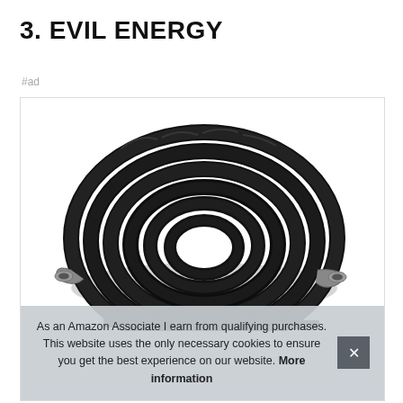3. EVIL ENERGY
#ad
[Figure (photo): A coiled black braided fuel hose/line product shown from above against a white background, with metal fittings visible at both ends.]
As an Amazon Associate I earn from qualifying purchases. This website uses the only necessary cookies to ensure you get the best experience on our website. More information